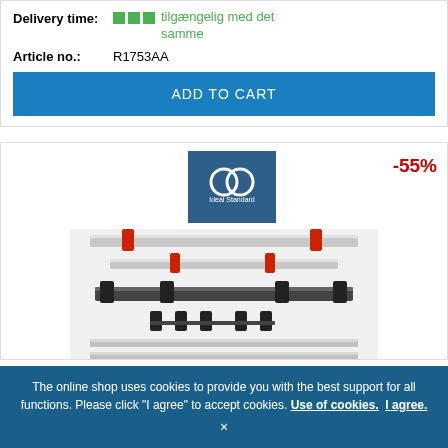Delivery time: tilgængelig med det samme
Article no.: R1753AA
ADD TO CART
[Figure (logo): Ideal Standard brand logo with two interlocking circles on dark blue background]
-55%
[Figure (photo): Product photo showing mounting hardware rails and brackets for sanitary installation]
The online shop uses cookies to provide you with the best support for all functions. Please click "I agree" to accept cookies. Use of cookies. I agree. ×